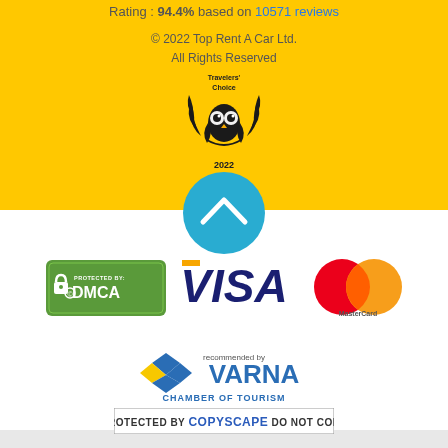Rating : 94.4% based on 10571 reviews
© 2022 Top Rent A Car Ltd.
All Rights Reserved
[Figure (logo): Travelers' Choice 2022 TripAdvisor award logo with owl icon and laurel wreath]
[Figure (other): Teal circular button with upward chevron arrow for back to top navigation]
[Figure (logo): DMCA Protected By badge with padlock icon on green background]
[Figure (logo): VISA payment logo in blue italic text]
[Figure (logo): MasterCard logo with overlapping red and orange circles]
[Figure (logo): Varna Chamber of Tourism recommended by logo with diamond-shaped icon]
[Figure (logo): Protected by Copyscape Do Not Copy badge with border]